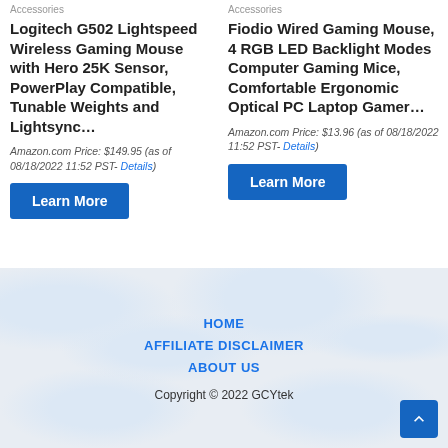Accessories
Logitech G502 Lightspeed Wireless Gaming Mouse with Hero 25K Sensor, PowerPlay Compatible, Tunable Weights and Lightsync…
Amazon.com Price: $149.95 (as of 08/18/2022 11:52 PST- Details)
Learn More
Accessories
Fiodio Wired Gaming Mouse, 4 RGB LED Backlight Modes Computer Gaming Mice, Comfortable Ergonomic Optical PC Laptop Gamer…
Amazon.com Price: $13.96 (as of 08/18/2022 11:52 PST- Details)
Learn More
HOME
AFFILIATE DISCLAIMER
ABOUT US
Copyright © 2022 GCYtek